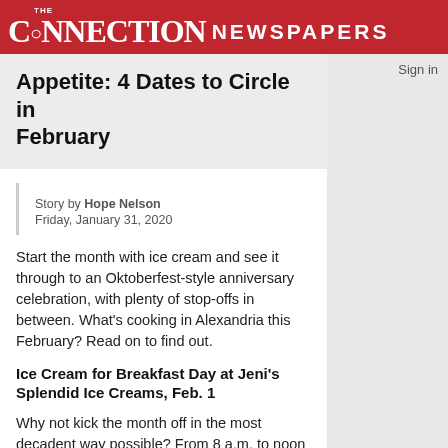[Figure (logo): The Connection Newspapers logo — white text on red background]
Appetite: 4 Dates to Circle in February
Story by Hope Nelson
Friday, January 31, 2020
Start the month with ice cream and see it through to an Oktoberfest-style anniversary celebration, with plenty of stop-offs in between. What's cooking in Alexandria this February? Read on to find out.
Ice Cream for Breakfast Day at Jeni's Splendid Ice Creams, Feb. 1
Why not kick the month off in the most decadent way possible? From 8 a.m. to noon on the first day of the month – happily a Saturday, at that – Jeni's will be scooping up the shop's new skillet cinnamon roll ice cream. Need a little more kick